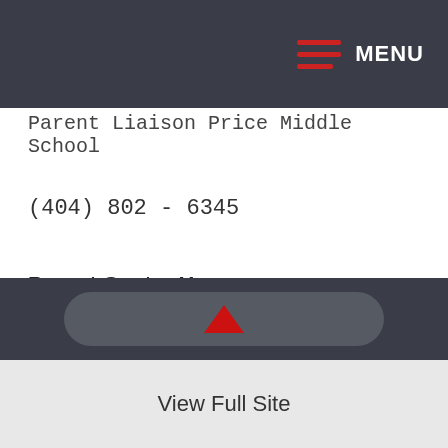MENU
Parent Liaison Price Middle School
(404) 802 - 6345
Parent Center Hours
Monday through Friday 8:30 - 4:00pm
View Full Site